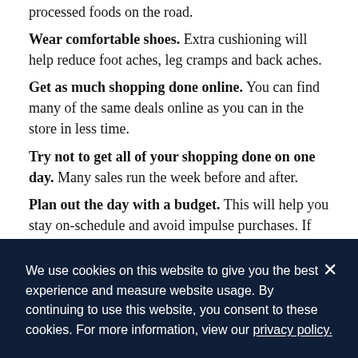processed foods on the road.
Wear comfortable shoes. Extra cushioning will help reduce foot aches, leg cramps and back aches.
Get as much shopping done online. You can find many of the same deals online as you can in the store in less time.
Try not to get all of your shopping done on one day. Many sales run the week before and after.
Plan out the day with a budget. This will help you stay on-schedule and avoid impulse purchases. If you're buying gifts, this will also make it easier to track who you've bought gifts for.
We use cookies on this website to give you the best experience and measure website usage. By continuing to use this website, you consent to these cookies. For more information, view our privacy policy.
right.